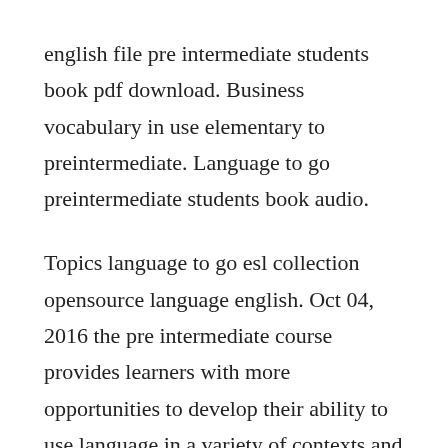english file pre intermediate students book pdf download. Business vocabulary in use elementary to preintermediate. Language to go preintermediate students book audio.
Topics language to go esl collection opensource language english. Oct 04, 2016 the pre intermediate course provides learners with more opportunities to develop their ability to use language in a variety of contexts and become more active participants in conversation. Everyday low prices and free delivery on eligible orders. Built in extra